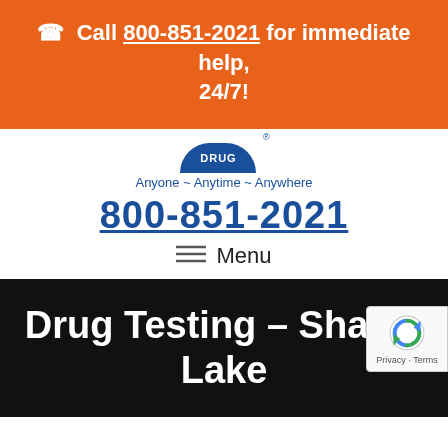📞 Call 800-851-2021 for immediate help, 24/7!
[Figure (logo): Partial blue circular logo with 'DRUG' text and registered trademark symbol, with tagline 'Anyone ~ Anytime ~ Anywhere']
800-851-2021
≡  Menu
Drug Testing – Shasta Lake
Home / California Drug Testing / Drug Te… – Shasta Lake